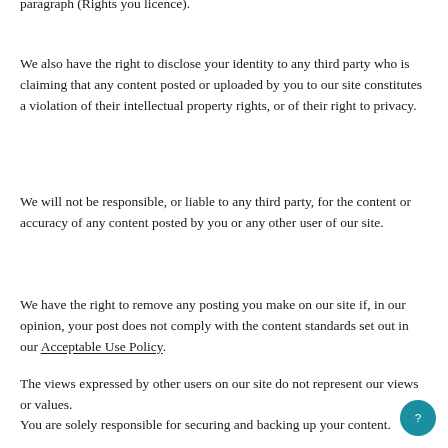paragraph (Rights you licence).
We also have the right to disclose your identity to any third party who is claiming that any content posted or uploaded by you to our site constitutes a violation of their intellectual property rights, or of their right to privacy.
We will not be responsible, or liable to any third party, for the content or accuracy of any content posted by you or any other user of our site.
We have the right to remove any posting you make on our site if, in our opinion, your post does not comply with the content standards set out in our Acceptable Use Policy.
The views expressed by other users on our site do not represent our views or values.
You are solely responsible for securing and backing up your content.